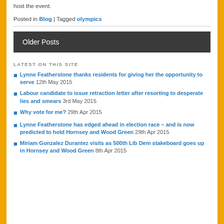host the event.
Posted in Blog | Tagged olympics
Older Posts
LATEST ON THIS SITE
Lynne Featherstone thanks residents for giving her the opportunity to serve 12th May 2015
Labour candidate to issue retraction letter after resorting to desperate lies and smears 3rd May 2015
Why vote for me? 29th Apr 2015
Lynne Featherstone has edged ahead in election race – and is now predicted to hold Hornsey and Wood Green 29th Apr 2015
Miriam Gonzalez Durantez visits as 500th Lib Dem stakeboard goes up in Hornsey and Wood Green 8th Apr 2015